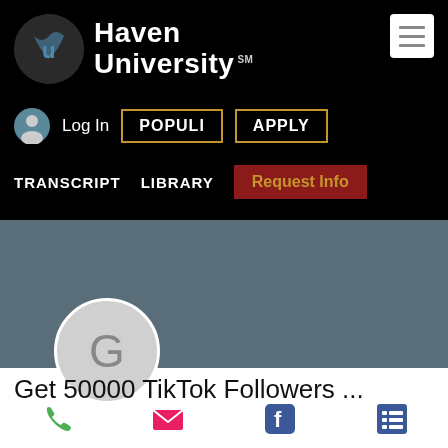[Figure (screenshot): Haven University website navigation bar on black background with logo, Login, POPULI, APPLY buttons, TRANSCRIPT, LIBRARY, and Request Info links]
[Figure (screenshot): Grey background section of a mobile screen showing a Follow button and three-dot menu, with a circular Google profile avatar (G)]
Get 50000 TikTok Followers ...
[Figure (infographic): Bottom navigation icons: phone, email, Facebook, and list/menu icon]